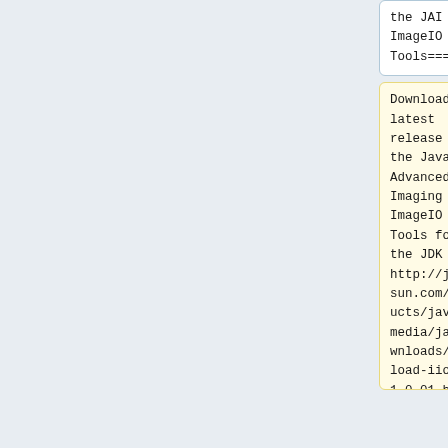the JAI ImageIO Tools===
the JAI ImageIO Tools===
Download the latest release of the Java Advanced Imaging ImageIO Tools for the JDK from http://java.sun.com/products/java-media/jai/downloads/download-iio-1_0_01.html. Select the <b>JDK
Download the latest release of the Java Advanced Imaging ImageIO Tools for the JDK from http://java.sun.com/products/java-media/jai/downloads/download-iio-1_0_01.html. Select the <b>JDK